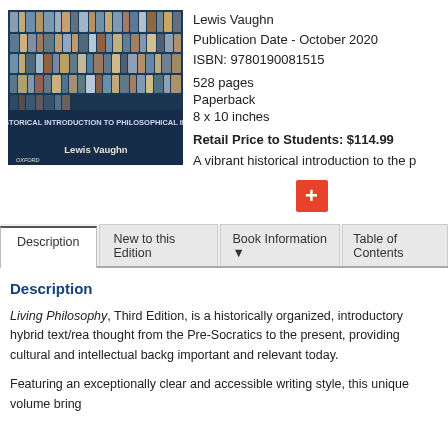[Figure (photo): Book cover for 'A Historical Introduction to Philosophical Ideas' by Lewis Vaughn, published by Oxford. Dark blue background with bookshelves.]
Lewis Vaughn
Publication Date - October 2020
ISBN: 9780190081515
528 pages
Paperback
8 x 10 inches
Retail Price to Students: $114.99
A vibrant historical introduction to the p
Description | New to this Edition | Book Information | Table of Contents
Description
Living Philosophy, Third Edition, is a historically organized, introductory hybrid text/rea thought from the Pre-Socratics to the present, providing cultural and intellectual backg important and relevant today.
Featuring an exceptionally clear and accessible writing style, this unique volume bring